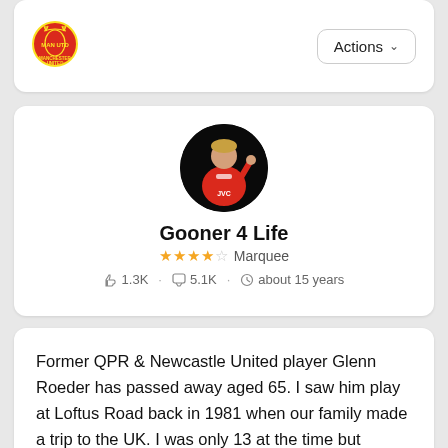[Figure (logo): Manchester United badge/logo in top left of header card]
Actions ∨
[Figure (photo): Circular profile photo of a footballer in red Arsenal JVC jersey celebrating]
Gooner 4 Life
★★★★☆ Marquee
👍 1.3K · 💬 5.1K · 🕐 about 15 years
Former QPR & Newcastle United player Glenn Roeder has passed away aged 65. I saw him play at Loftus Road back in 1981 when our family made a trip to the UK. I was only 13 at the time but remember him sticking out as a really classy